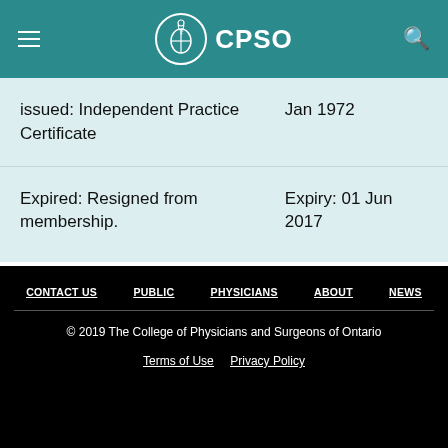CPSO
| Status | Date |
| --- | --- |
| issued: Independent Practice Certificate | Jan 1972 |
| Expired: Resigned from membership. | Expiry: 01 Jun 2017 |
CONTACT US  PUBLIC  PHYSICIANS  ABOUT  NEWS
© 2019 The College of Physicians and Surgeons of Ontario
Terms of Use  Privacy Policy